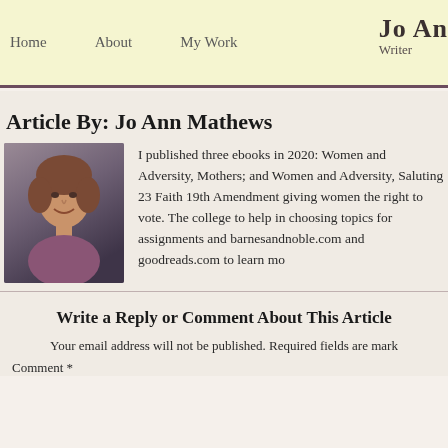Home   About   My Work   Jo An Writer
Article By: Jo Ann Mathews
[Figure (photo): Headshot photo of Jo Ann Mathews, a woman with short brown hair wearing a purple top, smiling, against a gray background.]
I published three ebooks in 2020: Women and Adversity, Mothers; and Women and Adversity, Saluting 23 Faith 19th Amendment giving women the right to vote. The college to help in choosing topics for assignments and barnesandnoble.com and goodreads.com to learn mo
Write a Reply or Comment About This Article
Your email address will not be published. Required fields are mark
Comment *